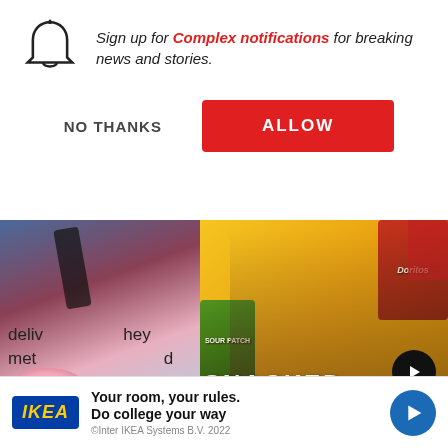Sign up for Complex notifications for breaking news and stories.
NO THANKS
ALLOW
[Figure (photo): Left half: Food/flowers scene from HBO Max. Right half: Three men surrounded by snack bags (Doritos, Sour Patch, Swedish Fish) with surprised expressions. Snacked show branding.]
Image via HBO Max
The Try Guys Break Down Their Favorite Snacks| Snacked
The team thought would be the easie challenge because
deliv they met d
[Figure (infographic): IKEA advertisement: Your room, your rules. Do college your way. Blue play button on right.]